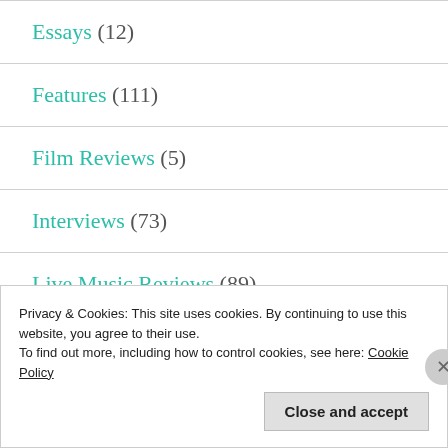Essays (12)
Features (111)
Film Reviews (5)
Interviews (73)
Live Music Reviews (89)
Privacy & Cookies: This site uses cookies. By continuing to use this website, you agree to their use. To find out more, including how to control cookies, see here: Cookie Policy